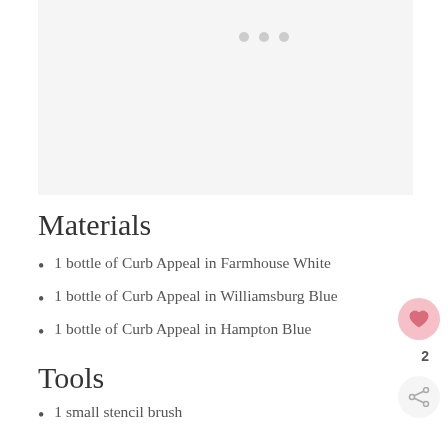[Figure (photo): Image placeholder area with light gray background and three pagination dots at top]
Materials
1 bottle of Curb Appeal in Farmhouse White
1 bottle of Curb Appeal in Williamsburg Blue
1 bottle of Curb Appeal in Hampton Blue
Tools
1 small stencil brush